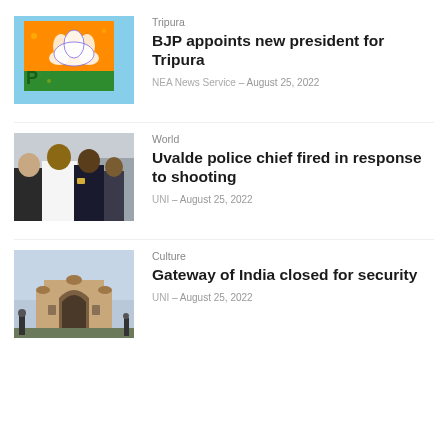[Figure (photo): BJP lotus flag in orange and green colors]
Tripura
BJP appoints new president for Tripura
NEA News Service – August 25, 2022
[Figure (photo): Police officers in uniform standing together outdoors]
World
Uvalde police chief fired in response to shooting
UNI – August 25, 2022
[Figure (photo): Gateway of India monument in Mumbai]
Culture
Gateway of India closed for security
UNI – August 25, 2022